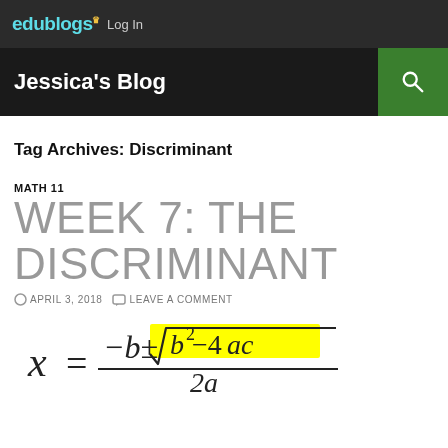edublogs Log In
Jessica's Blog
Tag Archives: Discriminant
MATH 11
WEEK 7: THE DISCRIMINANT
APRIL 3, 2018   LEAVE A COMMENT